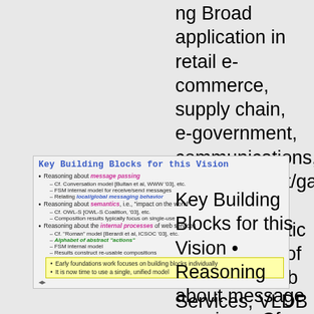ng Broad application in retail e-commerce, supply chain, e-government, communications, entertainment/gaming September 1, 2005 Automatic Composition of Semantic Web Services, VLDB 2005 3
[Figure (other): Slide titled 'Key Building Blocks for this Vision' with bullet points about reasoning about message passing (pink bold italic), semantics (pink bold italic), and internal processes (pink bold italic) of web services. Sub-bullets include references to Conversation model, FSM internal model, OWL-S, composition results, Roman model, Alphabet of abstract actions (green bold italic). Yellow highlighted box at bottom with two bullets: 'Early foundations work focuses on building blocks individually' and 'It is now time to use a single, unified model'.]
Key Building Blocks for this Vision • Reasoning about message passing – Cf. Conversation model [Bultan et al, WWW '03], etc. – FSM internal model for receive/send messages – Relating local/global messaging behavior • Reasonin